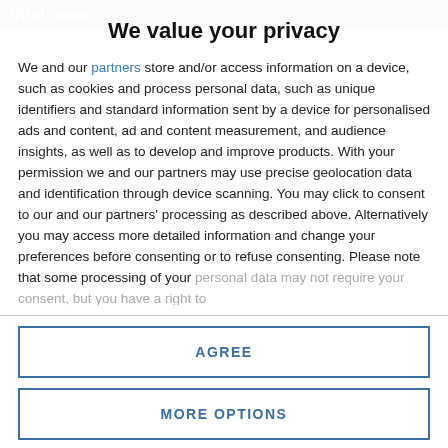Viral news
We value your privacy
We and our partners store and/or access information on a device, such as cookies and process personal data, such as unique identifiers and standard information sent by a device for personalised ads and content, ad and content measurement, and audience insights, as well as to develop and improve products. With your permission we and our partners may use precise geolocation data and identification through device scanning. You may click to consent to our and our partners' processing as described above. Alternatively you may access more detailed information and change your preferences before consenting or to refuse consenting. Please note that some processing of your personal data may not require your consent, but you have a right to
AGREE
MORE OPTIONS
Pikachus hit London hot spots for Europe's first Pokemon